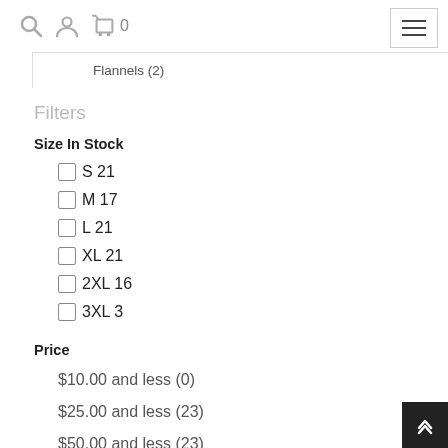Search  User  Cart 0  [hamburger menu]
Flannels (2)
Filters
Size In Stock
S 21
M 17
L 21
XL 21
2XL 16
3XL 3
Price
$10.00 and less (0)
$25.00 and less (23)
$50.00 and less (23)
$100.00 and less (23)